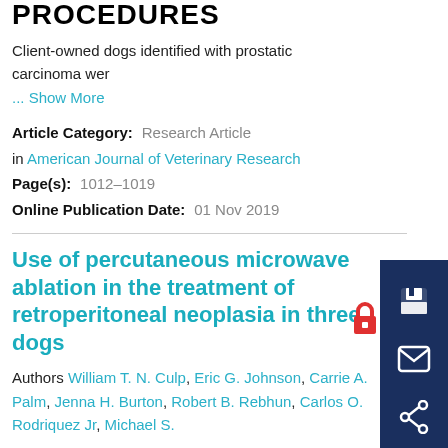PROCEDURES
Client-owned dogs identified with prostatic carcinoma wer
... Show More
Article Category:  Research Article
in American Journal of Veterinary Research
Page(s):  1012–1019
Online Publication Date:  01 Nov 2019
Use of percutaneous microwave ablation in the treatment of retroperitoneal neoplasia in three dogs
Authors William T. N. Culp, Eric G. Johnson, Carrie A. Palm, Jenna H. Burton, Robert B. Rebhun, Carlos O. Rodriquez Jr, Michael S.